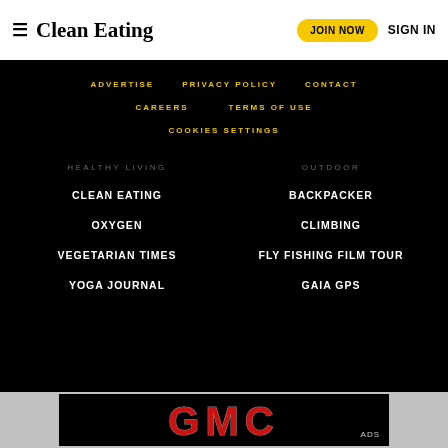Clean Eating | JOIN NOW | SIGN IN
ADVERTISE
PRIVACY POLICY
CONTACT
CAREERS
TERMS OF USE
COOKIES SETTINGS
HEALTHY LIVING
OUTDOOR
CLEAN EATING
BACKPACKER
OXYGEN
CLIMBING
VEGETARIAN TIMES
FLY FISHING FILM TOUR
YOGA JOURNAL
GAIA GPS
[Figure (logo): GMC advertisement banner at the bottom of the page]